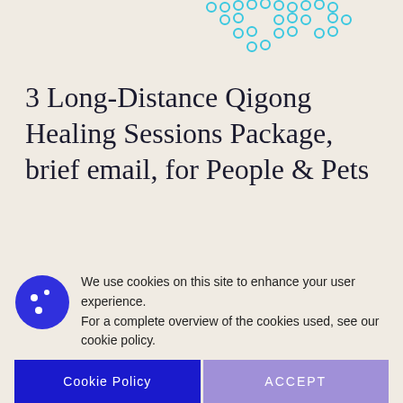[Figure (illustration): Decorative cyan/teal molecular or bubble chain pattern along the top of the page]
3 Long-Distance Qigong Healing Sessions Package, brief email, for People & Pets
$195.00 $180.00
We use cookies on this site to enhance your user experience. For a complete overview of the cookies used, see our cookie policy.